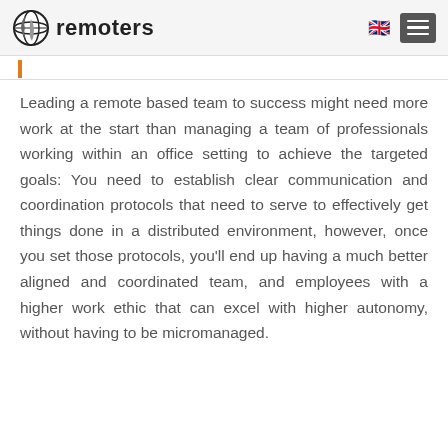remoters
Leading a remote based team to success might need more work at the start than managing a team of professionals working within an office setting to achieve the targeted goals: You need to establish clear communication and coordination protocols that need to serve to effectively get things done in a distributed environment, however, once you set those protocols, you'll end up having a much better aligned and coordinated team, and employees with a higher work ethic that can excel with higher autonomy, without having to be micromanaged.